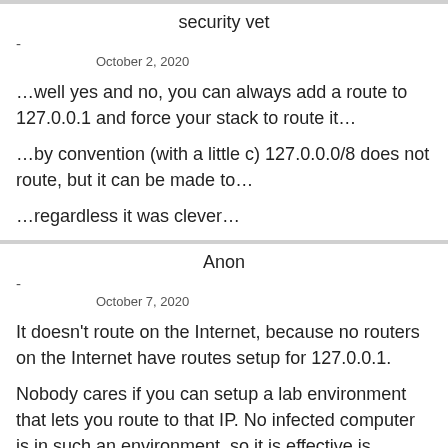security vet
-
October 2, 2020
…well yes and no, you can always add a route to 127.0.0.1 and force your stack to route it…
…by convention (with a little c) 127.0.0.0/8 does not route, but it can be made to…
…regardless it was clever…
Anon
-
October 7, 2020
It doesn't route on the Internet, because no routers on the Internet have routes setup for 127.0.0.1.
Nobody cares if you can setup a lab environment that lets you route to that IP. No infected computer is in such an environment, so it is effective is (temporarily at least) cutting off infected hosts from the C2 server